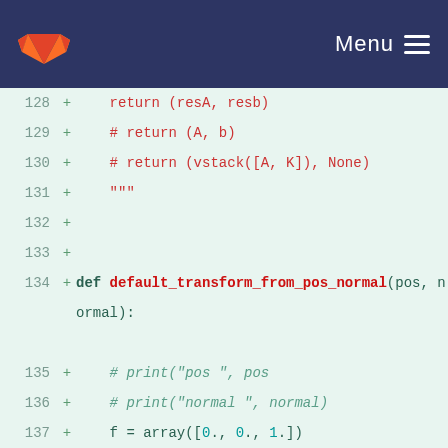GitLab navigation bar with logo and Menu
[Figure (screenshot): Code diff view showing Python source lines 128-145 with added lines marked with + in green/teal on a light green background. Lines include return statements, a function definition for default_transform_from_pos_normal, and mathematical operations.]